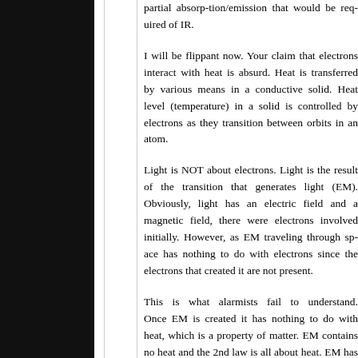partial absorp-tion/emission that would be required of IR.
I will be flippant now. Your claim that electrons interact with heat is absurd. Heat is transferred by various means in a conductive solid. Heat level (temperature) in a solid is controlled by electrons as they transition between orbits in an atom.
Light is NOT about electrons. Light is the result of the transition that generates light (EM). Obviously, light has an electric field and a magnetic field, there were electrons involved initially. However, as EM traveling through space has nothing to do with electrons since the electrons that created it are not present.
This is what alarmists fail to understand. Once EM is created it has nothing to do with heat, which is a property of matter. EM contains no heat and the 2nd law is all about heat. EM has nothing to do with EM and you cannot apply the 2nd law, qualifying it on the basis of 'not ener...